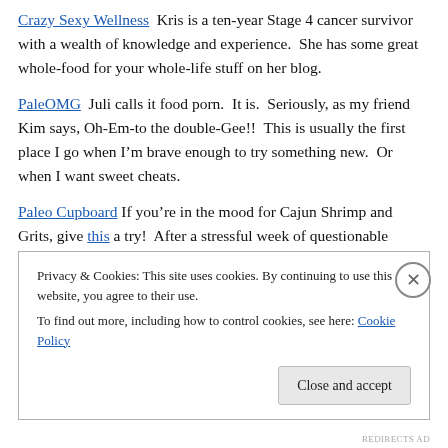Crazy Sexy Wellness  Kris is a ten-year Stage 4 cancer survivor with a wealth of knowledge and experience.  She has some great whole-food for your whole-life stuff on her blog.
PaleOMG  Juli calls it food porn.  It is.  Seriously, as my friend Kim says, Oh-Em-to the double-Gee!!  This is usually the first place I go when I'm brave enough to try something new.  Or when I want sweet cheats.
Paleo Cupboard If you're in the mood for Cajun Shrimp and Grits, give this a try!  After a stressful week of questionable eating, this was the first meal that actually satisfied me.  That
Privacy & Cookies: This site uses cookies. By continuing to use this website, you agree to their use.
To find out more, including how to control cookies, see here: Cookie Policy
Close and accept